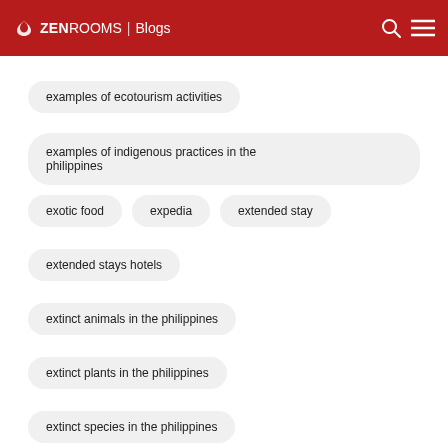ZEN ROOMS | Blogs
examples of ecotourism activities
examples of indigenous practices in the philippines
exotic food
expedia
extended stay
extended stays hotels
extinct animals in the philippines
extinct plants in the philippines
extinct species in the philippines
extreme activities in philippines